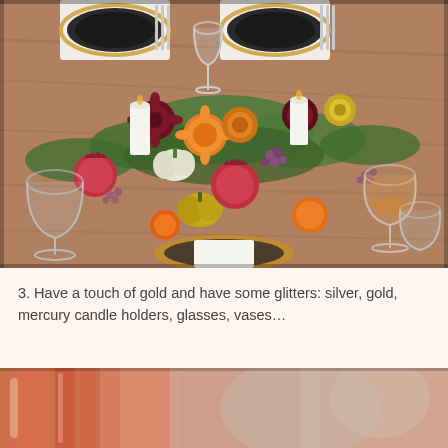[Figure (photo): Overhead view of an elegantly decorated dining table with floral centerpiece featuring orange chrysanthemums, deep red dahlias, and greenery, alongside pomegranates, small pumpkins, citrus fruits, white candles, black plates on gold chargers, crystal wine glasses, and silverware on a wooden table.]
3. Have a touch of gold and have some glitters: silver, gold, mercury candle holders, glasses, vases…
[Figure (photo): Partially visible photo showing warm copper/rose gold tones and a blurred background, likely showing decorative glittery or metallic items.]